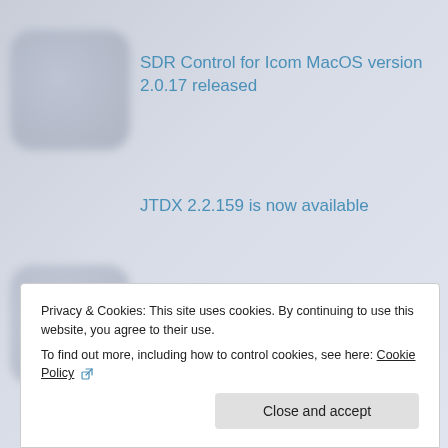SDR Control for Icom MacOS version 2.0.17 released
JTDX 2.2.159 is now available
SmartSDR for MacOS version 2.1.16 has been released
MacLoggerDX Version 6.42 released.
Privacy & Cookies: This site uses cookies. By continuing to use this website, you agree to their use.
To find out more, including how to control cookies, see here: Cookie Policy
Close and accept